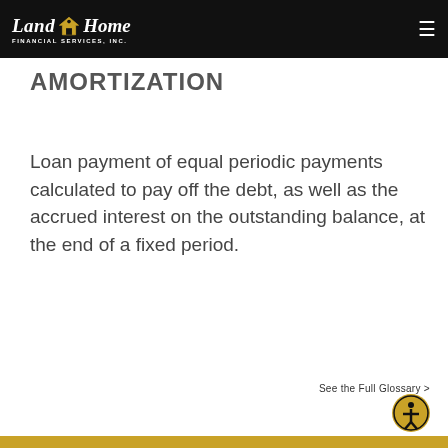Land Home Financial Services, Inc.
AMORTIZATION
Loan payment of equal periodic payments calculated to pay off the debt, as well as the accrued interest on the outstanding balance, at the end of a fixed period.
See the Full Glossary >